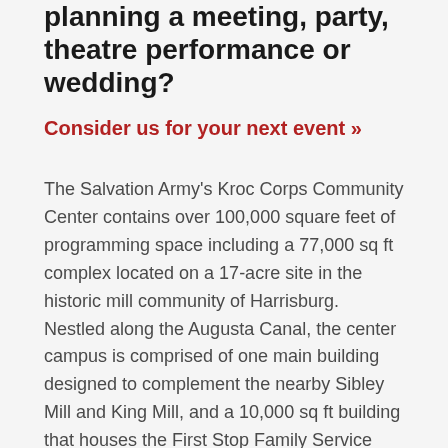Planning a meeting, party, theatre performance or wedding?
Consider us for your next event »
The Salvation Army's Kroc Corps Community Center contains over 100,000 square feet of programming space including a 77,000 sq ft complex located on a 17-acre site in the historic mill community of Harrisburg. Nestled along the Augusta Canal, the center campus is comprised of one main building designed to complement the nearby Sibley Mill and King Mill, and a 10,000 sq ft building that houses the First Stop Family Service Center. In addition, there is an expansive parking lot, several historic homes and a historic church renovated